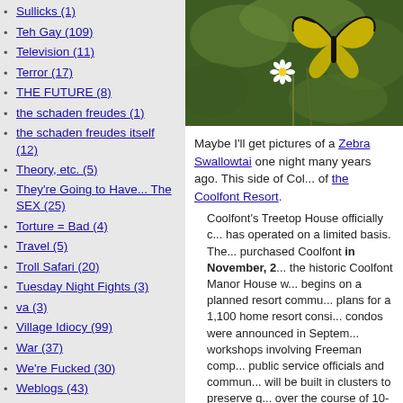Sullicks (1)
Teh Gay (109)
Television (11)
Terror (17)
THE FUTURE (8)
the schaden freudes (1)
the schaden freudes itself (12)
Theory, etc. (5)
They're Going to Have... The SEX (25)
Torture = Bad (4)
Travel (5)
Troll Safari (20)
Tuesday Night Fights (3)
va (3)
Village Idiocy (99)
War (37)
We're Fucked (30)
Weblogs (43)
Whafu? (15)
What-ever! (39)
Whiskey Fire (88)
WHOOP A WHOOP (14)
Wingnut Folklore (39)
Wingnut Identity Politics (263)
Wingnut SCIENCE! (82)
[Figure (photo): Close-up photograph of a butterfly (appears to be a Zebra Swallowtail) on white daisy flowers with green background]
Maybe I'll get pictures of a Zebra Swallowtail one night many years ago. This side of Col... of the Coolfont Resort.
Coolfont's Treetop House officially closed... has operated on a limited basis. The... purchased Coolfont in November, 2... the historic Coolfont Manor House w... begins on a planned resort commu... plans for a 1,100 home resort consi... condos were announced in Septem... workshops involving Freeman comp... public service officials and commun... will be built in clusters to preserve g... over the course of 10-12 years.
Or whenever a gigantic real estate bubble c... on the way to the butterflies.
[Figure (photo): Photograph of a wooded/forested area, green trees and foliage]